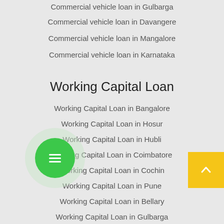Commercial vehicle loan in Gulbarga
Commercial vehicle loan in Davangere
Commercial vehicle loan in Mangalore
Commercial vehicle loan in Karnataka
Working Capital Loan
Working Capital Loan in Bangalore
Working Capital Loan in Hosur
Working Capital Loan in Hubli
Working Capital Loan in Coimbatore
Working Capital Loan in Cochin
Working Capital Loan in Pune
Working Capital Loan in Bellary
Working Capital Loan in Gulbarga